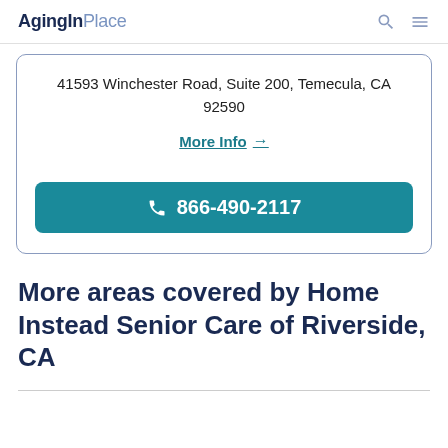AgingInPlace
41593 Winchester Road, Suite 200, Temecula, CA 92590
More Info →
866-490-2117
More areas covered by Home Instead Senior Care of Riverside, CA